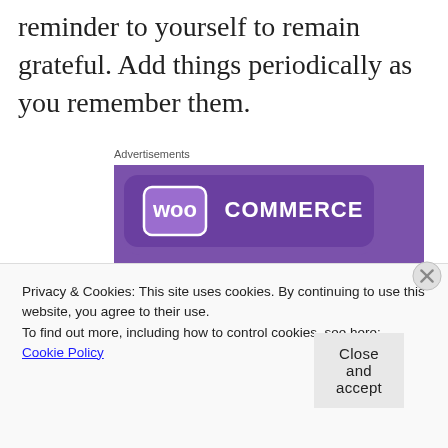reminder to yourself to remain grateful. Add things periodically as you remember them.
Advertisements
[Figure (illustration): WooCommerce advertisement banner showing the WooCommerce logo on a purple background with teal and blue geometric shapes. Text reads: 'How to start selling subscriptions online']
Privacy & Cookies: This site uses cookies. By continuing to use this website, you agree to their use.
To find out more, including how to control cookies, see here: Cookie Policy
Close and accept